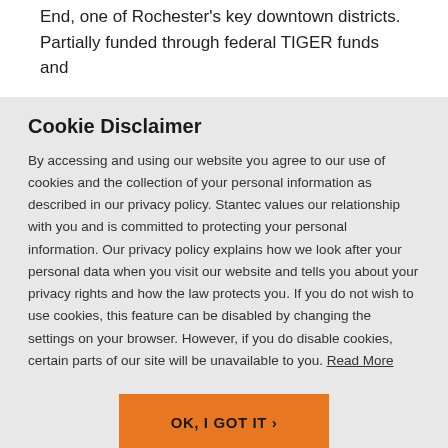End, one of Rochester's key downtown districts.
Partially funded through federal TIGER funds and
Cookie Disclaimer
By accessing and using our website you agree to our use of cookies and the collection of your personal information as described in our privacy policy. Stantec values our relationship with you and is committed to protecting your personal information. Our privacy policy explains how we look after your personal data when you visit our website and tells you about your privacy rights and how the law protects you. If you do not wish to use cookies, this feature can be disabled by changing the settings on your browser. However, if you do disable cookies, certain parts of our site will be unavailable to you. Read More
OK, I GOT IT ›